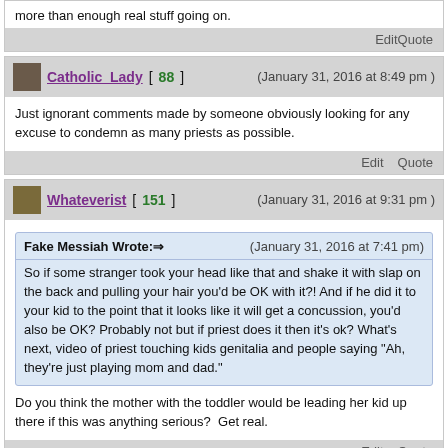more than enough real stuff going on.
Edit   Quote
Catholic_Lady [ 88 ]   (January 31, 2016 at 8:49 pm )
Just ignorant comments made by someone obviously looking for any excuse to condemn as many priests as possible.
Edit   Quote
Whateverist [ 151 ]   (January 31, 2016 at 9:31 pm )
Fake Messiah Wrote:→   (January 31, 2016 at 7:41 pm)   So if some stranger took your head like that and shake it with slap on the back and pulling your hair you'd be OK with it?! And if he did it to your kid to the point that it looks like it will get a concussion, you'd also be OK? Probably not but if priest does it then it's ok? What's next, video of priest touching kids genitalia and people saying "Ah, they're just playing mom and dad."
Do you think the mother with the toddler would be leading her kid up there if this was anything serious?  Get real.
Edit   Quote